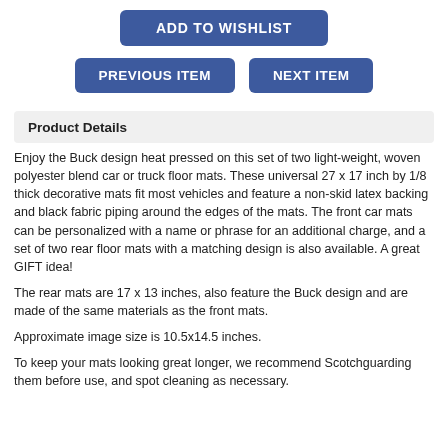ADD TO WISHLIST
PREVIOUS ITEM
NEXT ITEM
Product Details
Enjoy the Buck design heat pressed on this set of two light-weight, woven polyester blend car or truck floor mats. These universal 27 x 17 inch by 1/8 thick decorative mats fit most vehicles and feature a non-skid latex backing and black fabric piping around the edges of the mats. The front car mats can be personalized with a name or phrase for an additional charge, and a set of two rear floor mats with a matching design is also available. A great GIFT idea!
The rear mats are 17 x 13 inches, also feature the Buck design and are made of the same materials as the front mats.
Approximate image size is 10.5x14.5 inches.
To keep your mats looking great longer, we recommend Scotchguarding them before use, and spot cleaning as necessary.